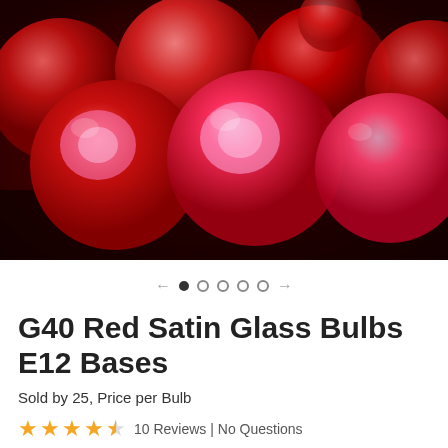[Figure (photo): Close-up photo of red satin glass G40 bulbs clustered together, glowing with pink/purple light in the center, against a dark red background.]
← ● ○ ○ ○ ○ →
G40 Red Satin Glass Bulbs E12 Bases
Sold by 25, Price per Bulb
★★★★☆  10 Reviews | No Questions